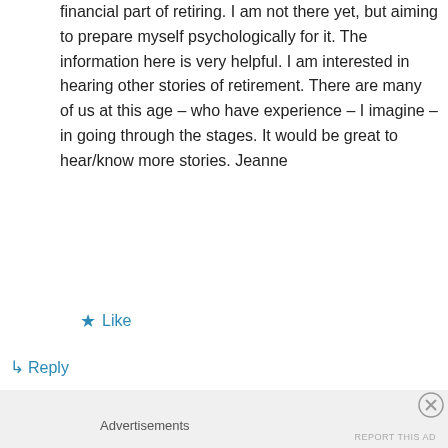financial part of retiring. I am not there yet, but aiming to prepare myself psychologically for it. The information here is very helpful. I am interested in hearing other stories of retirement. There are many of us at this age – who have experience – I imagine – in going through the stages. It would be great to hear/know more stories. Jeanne
★ Like
↳ Reply
Advertisements
REPORT THIS AD